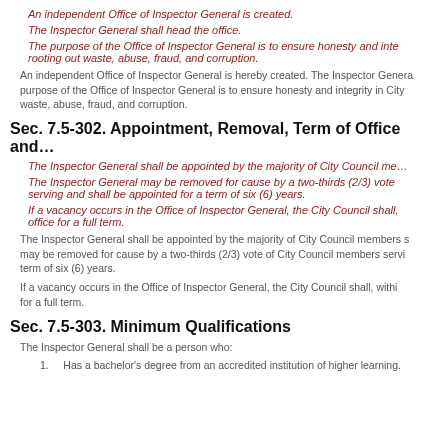An independent Office of Inspector General is created.
The Inspector General shall head the office.
The purpose of the Office of Inspector General is to ensure honesty and integrity in City government by rooting out waste, abuse, fraud, and corruption.
An independent Office of Inspector General is hereby created. The Inspector General shall head the office. The purpose of the Office of Inspector General is to ensure honesty and integrity in City government by rooting out waste, abuse, fraud, and corruption.
Sec. 7.5-302. Appointment, Removal, Term of Office and...
The Inspector General shall be appointed by the majority of City Council me...
The Inspector General may be removed for cause by a two-thirds (2/3) vote of City Council members serving and shall be appointed for a term of six (6) years.
If a vacancy occurs in the Office of Inspector General, the City Council shall, within... office for a full term.
The Inspector General shall be appointed by the majority of City Council members serving. The Inspector General may be removed for cause by a two-thirds (2/3) vote of City Council members serving and shall be appointed for a term of six (6) years.
If a vacancy occurs in the Office of Inspector General, the City Council shall, within... for a full term.
Sec. 7.5-303. Minimum Qualifications
The Inspector General shall be a person who:
Has a bachelor's degree from an accredited institution of higher learning.